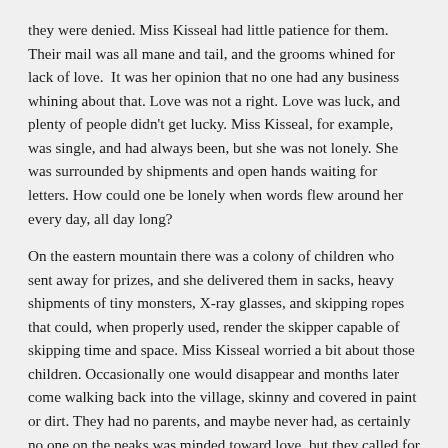they were denied. Miss Kisseal had little patience for them. Their mail was all mane and tail, and the grooms whined for lack of love.  It was her opinion that no one had any business whining about that. Love was not a right. Love was luck, and plenty of people didn't get lucky. Miss Kisseal, for example, was single, and had always been, but she was not lonely. She was surrounded by shipments and open hands waiting for letters. How could one be lonely when words flew around her every day, all day long?
On the eastern mountain there was a colony of children who sent away for prizes, and she delivered them in sacks, heavy shipments of tiny monsters, X-ray glasses, and skipping ropes that could, when properly used, render the skipper capable of skipping time and space. Miss Kisseal worried a bit about those children. Occasionally one would disappear and months later come walking back into the village, skinny and covered in paint or dirt. They had no parents, and maybe never had, as certainly no one on the peaks was minded toward love, but they called for their mail nonetheless. They seemed to live on shipments of cereal.
Miss Kisseal put on her sensible boots, freezing even in her double